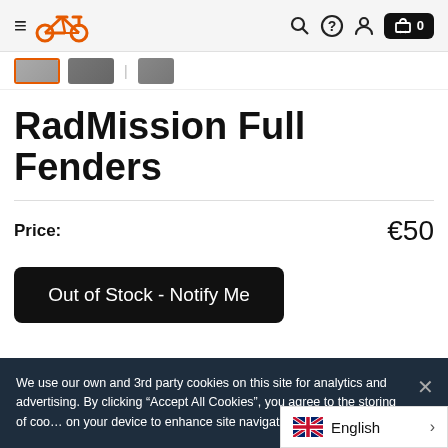RadPower Bikes navigation bar with logo, search, help, account, and cart icons
[Figure (screenshot): Thumbnail image strip showing product images, first thumbnail highlighted with orange border]
RadMission Full Fenders
Price: €50
Out of Stock - Notify Me
We use our own and 3rd party cookies on this site for analytics and advertising. By clicking "Accept All Cookies", you agree to the storing of cookies on your device to enhance site navigation, analy…